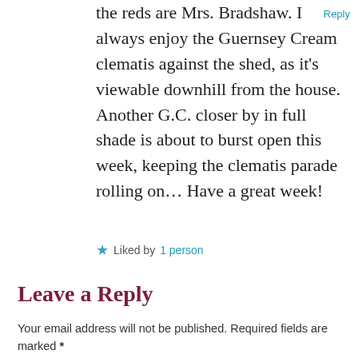the reds are Mrs. Bradshaw. I always enjoy the Guernsey Cream clematis against the shed, as it's viewable downhill from the house. Another G.C. closer by in full shade is about to burst open this week, keeping the clematis parade rolling on… Have a great week!
Reply
★ Liked by 1 person
Leave a Reply
Your email address will not be published. Required fields are marked *